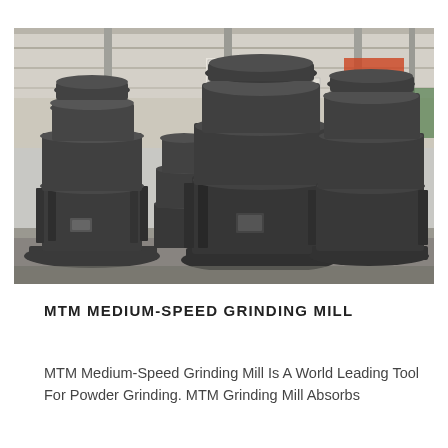[Figure (photo): Photograph of multiple MTM Medium-Speed Grinding Mill machines (large dark grey cylindrical industrial grinding mills) arranged in a factory/warehouse setting with steel roof structure visible. Chinese banner text visible in background.]
MTM MEDIUM-SPEED GRINDING MILL
MTM Medium-Speed Grinding Mill Is A World Leading Tool For Powder Grinding. MTM Grinding Mill Absorbs